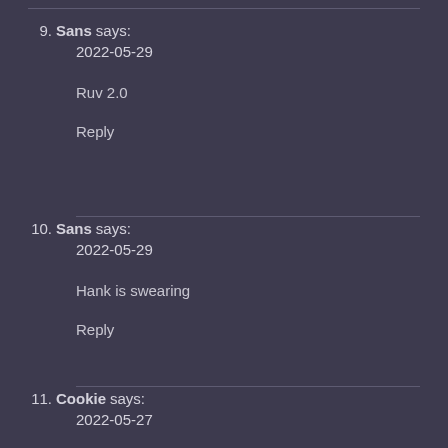9. Sans says:
2022-05-29

Ruv 2.0

Reply
10. Sans says:
2022-05-29

Hank is swearing

Reply
11. Cookie says:
2022-05-27